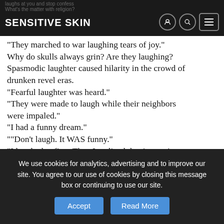Sensitive Skin
“They marched to war laughing tears of joy.” Why do skulls always grin? Are they laughing? Spasmodic laughter caused hilarity in the crowd of drunken revel eras. “Fearful laughter was heard.” “They were made to laugh while their neighbors were impaled.” “I had a funny dream.” “”Don’t laugh. It WAS funny.” “I laughed at first. Then I realized that it wasn’t a joke.” What’s “wrong laughter”? When is stupid funny and when does stupid stop
We use cookies for analytics, advertising and to improve our site. You agree to our use of cookies by closing this message box or continuing to use our site.